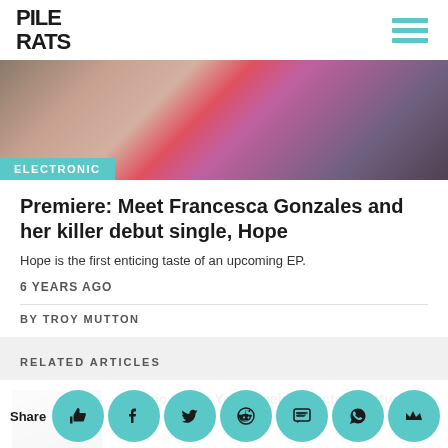PILE RATS
[Figure (photo): Hero banner photo showing people with flowers, muted warm tones with pink and teal accents]
ELECTRONIC
Premiere: Meet Francesca Gonzales and her killer debut single, Hope
Hope is the first enticing taste of an upcoming EP.
6 YEARS AGO
BY TROY MUTTON
RELATED ARTICLES
[Figure (photo): Thumbnail photo of two people]
Electric Feels: Your Weekly Electronic Music Recap
4 years ago
Here are all the month's community-released new collaboration pressure